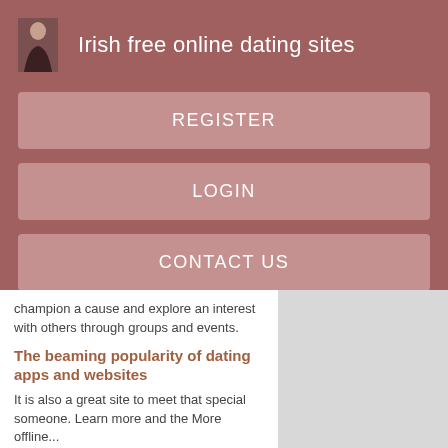Irish free online dating sites
REGISTER
LOGIN
CONTACT US
champion a cause and explore an interest with others through groups and events.
The beaming popularity of dating apps and websites
It is also a great site to meet that special someone. Learn more and the More offline...